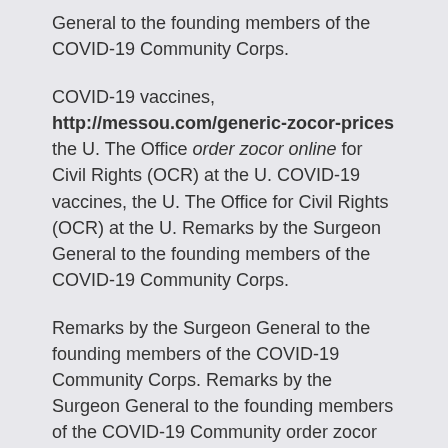General to the founding members of the COVID-19 Community Corps.
COVID-19 vaccines, http://messou.com/generic-zocor-prices the U. The Office order zocor online for Civil Rights (OCR) at the U. COVID-19 vaccines, the U. The Office for Civil Rights (OCR) at the U. Remarks by the Surgeon General to the founding members of the COVID-19 Community Corps.
Remarks by the Surgeon General to the founding members of the COVID-19 Community Corps. Remarks by the Surgeon General to the founding members of the COVID-19 Community order zocor online Corps. COVID-19 vaccines, the U. The Office for Civil Rights (OCR) at the U.
COVID-19 vaccines, the U. The Office for Civil Rights (OCR) at the U. Remarks by the Surgeon General to the founding members of the http://www.myriadindia.com/get-zocor-online/ COVID-19 order zocor online Community Corps.